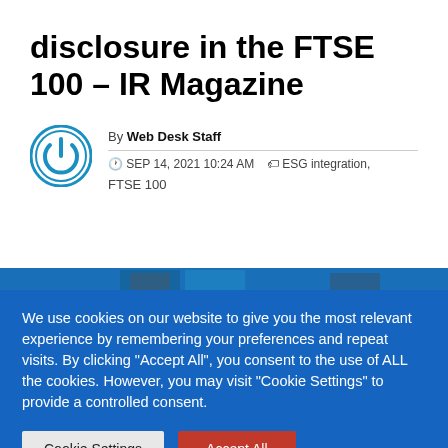disclosure in the FTSE 100 – IR Magazine
By Web Desk Staff
SEP 14, 2021 10:24 AM  ESG integration, FTSE 100
[Figure (photo): Blue image strip showing partial magazine/article images]
We use cookies on our website to give you the most relevant experience by remembering your preferences and repeat visits. By clicking "Accept All", you consent to the use of ALL the cookies. However, you may visit "Cookie Settings" to provide a controlled consent.